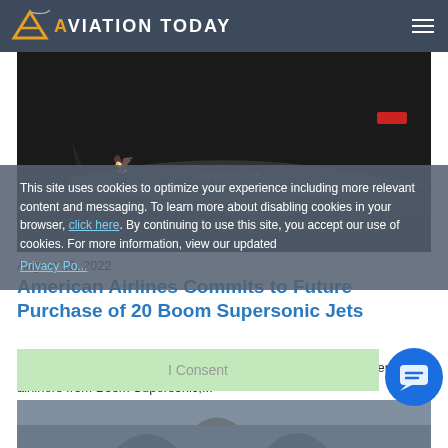Aviation Today
[Figure (photo): Dark image of a supersonic aircraft (Boom Overture) on the ground, side profile view, with a bird/wing logo visible on the fuselage]
This site uses cookies to optimize your experience including more relevant content and messaging. To learn more about disabling cookies in your browser, click here. By continuing to use this site, you accept our use of cookies. For more information, view our updated Privacy Policy.
August 16, 2022
American Airlines Commits to Future Purchase of 20 Boom Supersonic Jets
American Airlines has committed to a future purchase of 20 Overture airliners from Boom Supersonic,...
I Consent
[Figure (photo): Partial bottom image showing aircraft or aviation-related scene, partially cut off]